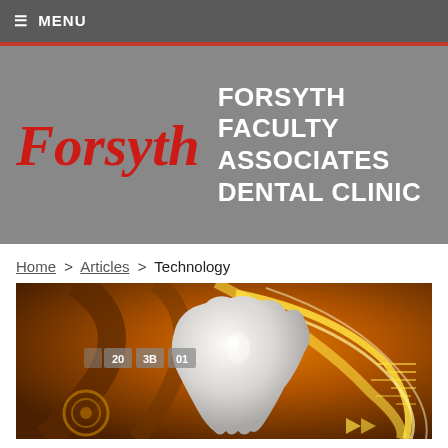≡ MENU
[Figure (logo): Forsyth Faculty Associates Dental Clinic logo on gray background with red Forsyth italic text and white bold uppercase text]
Home > Articles > Technology
[Figure (illustration): Digital illustration of a white tooth on an orange/amber background with glowing swirls and circuit board patterns, with small numbered boxes (20, 3B, 01) visible on the left side]